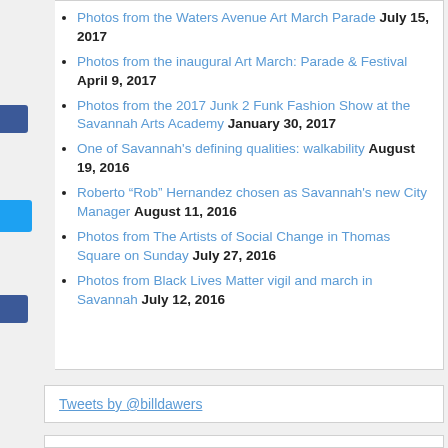Photos from the Waters Avenue Art March Parade July 15, 2017
Photos from the inaugural Art March: Parade & Festival April 9, 2017
Photos from the 2017 Junk 2 Funk Fashion Show at the Savannah Arts Academy January 30, 2017
One of Savannah's defining qualities: walkability August 19, 2016
Roberto “Rob” Hernandez chosen as Savannah's new City Manager August 11, 2016
Photos from The Artists of Social Change in Thomas Square on Sunday July 27, 2016
Photos from Black Lives Matter vigil and march in Savannah July 12, 2016
Tweets by @billdawers